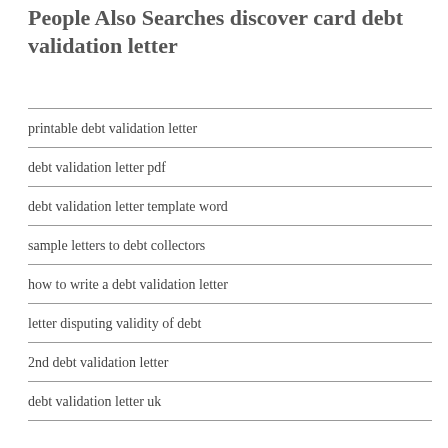People Also Searches discover card debt validation letter
printable debt validation letter
debt validation letter pdf
debt validation letter template word
sample letters to debt collectors
how to write a debt validation letter
letter disputing validity of debt
2nd debt validation letter
debt validation letter uk